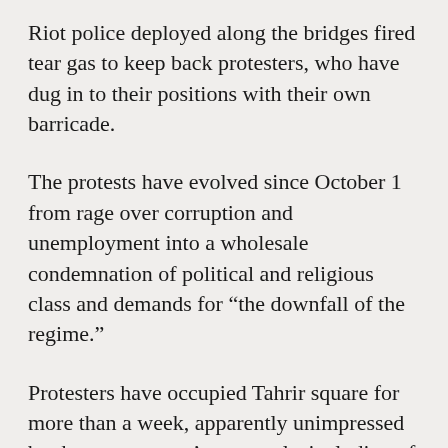Riot police deployed along the bridges fired tear gas to keep back protesters, who have dug in to their positions with their own barricade.
The protests have evolved since October 1 from rage over corruption and unemployment into a wholesale condemnation of political and religious class and demands for “the downfall of the regime.”
Protesters have occupied Tahrir square for more than a week, apparently unimpressed by the government’s proposals, including of early elections and a new premier.
“We’ve been having elections for 16 years, and we’ve gotten nothing,” said Haydar, 30, a protester in Tahrir.